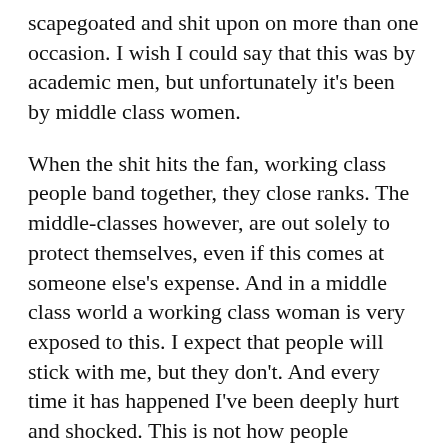scapegoated and shit upon on more than one occasion. I wish I could say that this was by academic men, but unfortunately it's been by middle class women.
When the shit hits the fan, working class people band together, they close ranks. The middle-classes however, are out solely to protect themselves, even if this comes at someone else's expense. And in a middle class world a working class woman is very exposed to this. I expect that people will stick with me, but they don't. And every time it has happened I've been deeply hurt and shocked. This is not how people behave.
When I was a young mum, living in my own council house with an abusive husband it was my working class friends that helped me survive. We shared food,